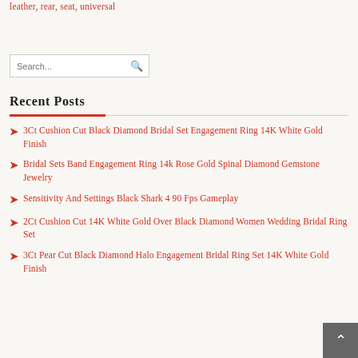leather, rear, seat, universal
Search...
Recent Posts
3Ct Cushion Cut Black Diamond Bridal Set Engagement Ring 14K White Gold Finish
Bridal Sets Band Engagement Ring 14k Rose Gold Spinal Diamond Gemstone Jewelry
Sensitivity And Settings Black Shark 4 90 Fps Gameplay
2Ct Cushion Cut 14K White Gold Over Black Diamond Women Wedding Bridal Ring Set
3Ct Pear Cut Black Diamond Halo Engagement Bridal Ring Set 14K White Gold Finish